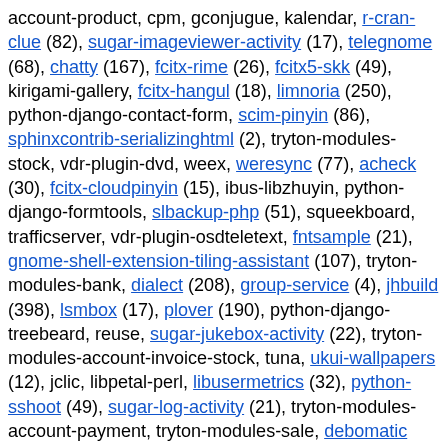account-product, cpm, gconjugue, kalendar, r-cran-clue (82), sugar-imageviewer-activity (17), telegnome (68), chatty (167), fcitx-rime (26), fcitx5-skk (49), kirigami-gallery, fcitx-hangul (18), limnoria (250), python-django-contact-form, scim-pinyin (86), sphinxcontrib-serializinghtml (2), tryton-modules-stock, vdr-plugin-dvd, weex, weresync (77), acheck (30), fcitx-cloudpinyin (15), ibus-libzhuyin, python-django-formtools, slbackup-php (51), squeekboard, trafficserver, vdr-plugin-osdteletext, fntsample (21), gnome-shell-extension-tiling-assistant (107), tryton-modules-bank, dialect (208), group-service (4), jhbuild (398), lsmbox (17), plover (190), python-django-treebeard, reuse, sugar-jukebox-activity (22), tryton-modules-account-invoice-stock, tuna, ukui-wallpapers (12), jclic, libpetal-perl, libusermetrics (32), python-sshoot (49), sugar-log-activity (21), tryton-modules-account-payment, tryton-modules-sale, debomatic (60), django-sitetree, django-taggit, gems (50), ibus-cangjie, ibus-skk, l3afpad, libzonemaster-perl, lpe (30), sphinxcontrib-qthelp (3), sugar-read-activity (52), yasr (120), darksnow, django-model-utils